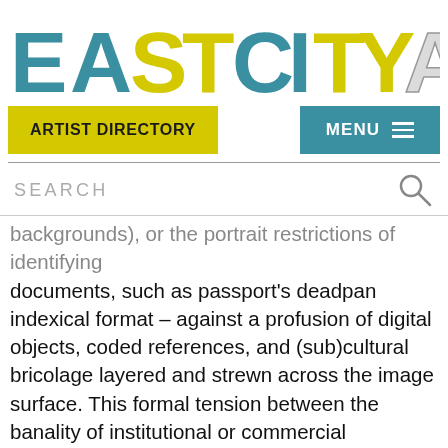[Figure (logo): EastCityArt logo in large block letters with teal/blue and yellow-green coloring with shadow effects]
ARTIST DIRECTORY
MENU ≡
SEARCH
backgrounds), or the portrait restrictions of identifying documents, such as passport's deadpan indexical format – against a profusion of digital objects, coded references, and (sub)cultural bricolage layered and strewn across the image surface. This formal tension between the banality of institutional or commercial structures, and the hyper-articulated lexicon of ephemera, text fragments, and hermetic images that populate their surfaces, point to the ways our digitally augmented identities and desires, which are often dictated by the conventions of technology, functionality, and commerce, also contain the potential for liberated forms of personalization, social engagement, and